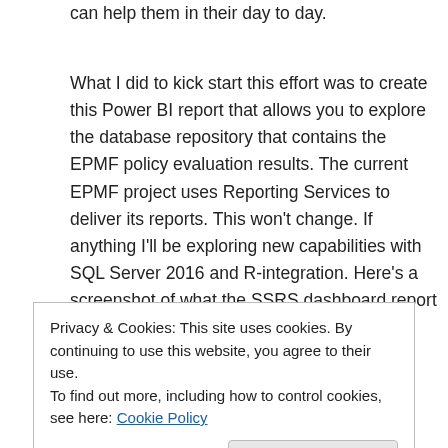can help them in their day to day.
What I did to kick start this effort was to create this Power BI report that allows you to explore the database repository that contains the EPMF policy evaluation results. The current EPMF project uses Reporting Services to deliver its reports. This won't change. If anything I'll be exploring new capabilities with SQL Server 2016 and R-integration. Here's a screenshot of what the SSRS dashboard report looks like:
[Figure (screenshot): Broken image placeholder with filename DashboardScreenshotv4_cropped.jpg]
Privacy & Cookies: This site uses cookies. By continuing to use this website, you agree to their use.
To find out more, including how to control cookies, see here: Cookie Policy
[Close and accept button]